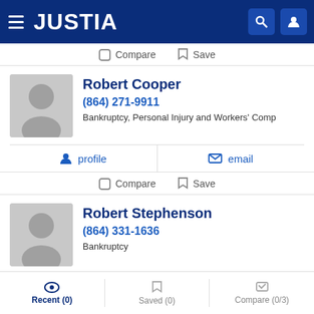JUSTIA
Compare   Save
Robert Cooper
(864) 271-9911
Bankruptcy, Personal Injury and Workers' Comp
profile   email
Compare   Save
Robert Stephenson
(864) 331-1636
Bankruptcy
profile   email
Recent (0)   Saved (0)   Compare (0/3)